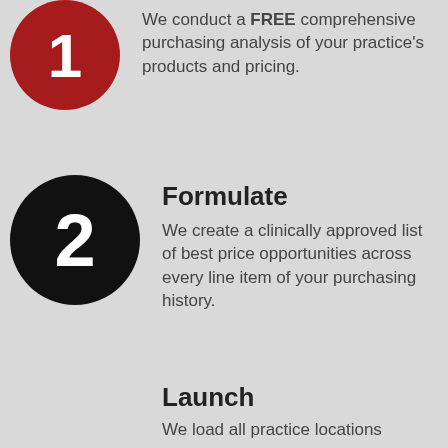[Figure (infographic): Red circle with white number 1]
We conduct a FREE comprehensive purchasing analysis of your practice's products and pricing.
[Figure (infographic): Black circle with white number 2]
Formulate
We create a clinically approved list of best price opportunities across every line item of your purchasing history.
Launch
We load all practice locations